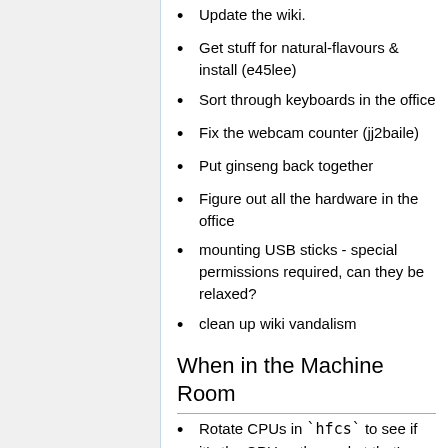Update the wiki.
Get stuff for natural-flavours & install (e45lee)
Sort through keyboards in the office
Fix the webcam counter (jj2baile)
Put ginseng back together
Figure out all the hardware in the office
mounting USB sticks - special permissions required, can they be relaxed?
clean up wiki vandalism
When in the Machine Room
Rotate CPUs in `hfcs` to see if it's the CPU or the socket that's causing NMI issues.
Set up binaerpilot?
Make sure that the IPMI/console